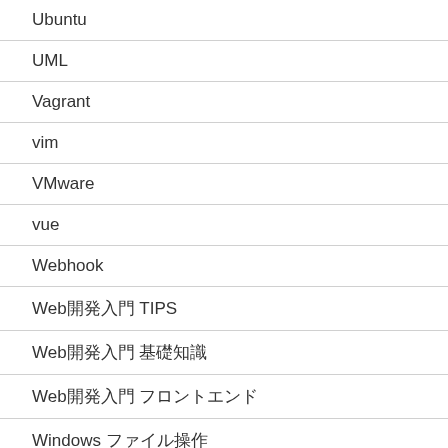Ubuntu
UML
Vagrant
vim
VMware
vue
Webhook
Web開発入門 TIPS
Web開発入門 基礎知識
Web開発入門 フロントエンド
Windows ファイル操作